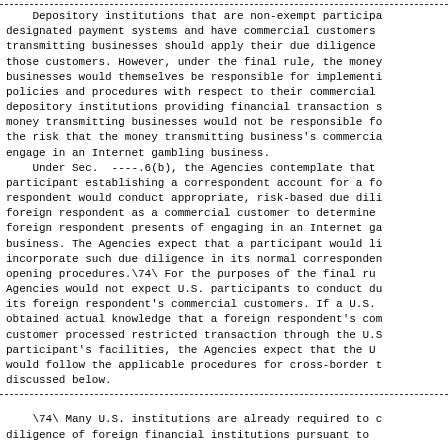Depository institutions that are non-exempt participants in designated payment systems and have commercial customers that are money transmitting businesses should apply their due diligence policies to those customers. However, under the final rule, the money transmitting businesses would themselves be responsible for implementing policies and procedures with respect to their commercial customers, and depository institutions providing financial transaction services to money transmitting businesses would not be responsible for managing the risk that the money transmitting business's commercial customers engage in an Internet gambling business.
    Under Sec. ----.6(b), the Agencies contemplate that a participant establishing a correspondent account for a foreign respondent would conduct appropriate, risk-based due diligence on the foreign respondent as a commercial customer to determine the risk the foreign respondent presents of engaging in an Internet gambling business. The Agencies expect that a participant would likely incorporate such due diligence in its normal correspondent account opening procedures.\74\ For the purposes of the final rule, the Agencies would not expect U.S. participants to conduct due diligence on its foreign respondent's commercial customers. If a U.S. participant obtained actual knowledge that a foreign respondent's commercial customer processed restricted transaction through the U.S. participant's facilities, the Agencies expect that the U.S. participant would follow the applicable procedures for cross-border transactions discussed below.
\74\ Many U.S. institutions are already required to conduct due diligence of foreign financial institutions pursuant to...